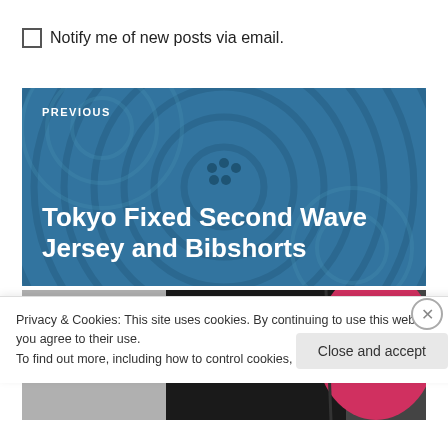Notify me of new posts via email.
[Figure (photo): Previous post navigation block with blue wave/circle pattern background; label PREVIOUS and title Tokyo Fixed Second Wave Jersey and Bibshorts in white text]
[Figure (photo): Next post navigation block with gray background and partial photo of a cyclist in black and pink gear; label NEXT in white text]
Privacy & Cookies: This site uses cookies. By continuing to use this website, you agree to their use.
To find out more, including how to control cookies, see here: Cookie Policy
Close and accept